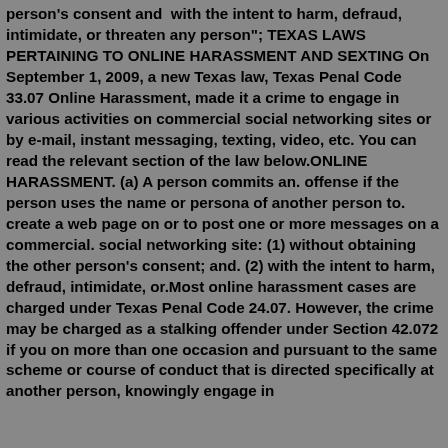person's consent and  with the intent to harm, defraud, intimidate, or threaten any person"; TEXAS LAWS PERTAINING TO ONLINE HARASSMENT AND SEXTING On September 1, 2009, a new Texas law, Texas Penal Code 33.07 Online Harassment, made it a crime to engage in various activities on commercial social networking sites or by e-mail, instant messaging, texting, video, etc. You can read the relevant section of the law below.ONLINE HARASSMENT. (a) A person commits an. offense if the person uses the name or persona of another person to. create a web page on or to post one or more messages on a commercial. social networking site: (1) without obtaining the other person's consent; and. (2) with the intent to harm, defraud, intimidate, or.Most online harassment cases are charged under Texas Penal Code 24.07. However, the crime may be charged as a stalking offender under Section 42.072 if you on more than one occasion and pursuant to the same scheme or course of conduct that is directed specifically at another person, knowingly engage in